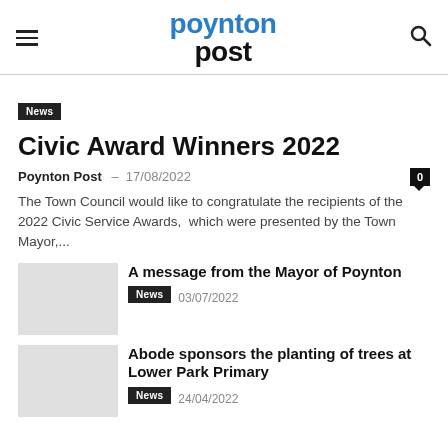poynton post
News
Civic Award Winners 2022
Poynton Post – 17/08/2022
The Town Council would like to congratulate the recipients of the 2022 Civic Service Awards, which were presented by the Town Mayor,...
A message from the Mayor of Poynton
News  03/07/2022
Abode sponsors the planting of trees at Lower Park Primary
News  24/04/2022